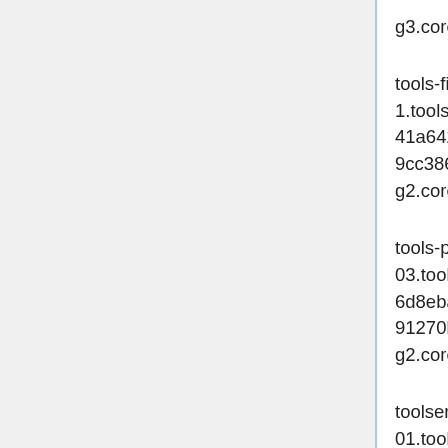g3.cores4.ram8.disk20
tools-filesystemtest-1.tools.eqiad1.wikimedia.cloud 41a64283-eb89-45a9-99eb-9cc3867aa520 172.16.4.203 g2.cores1.ram2.disk20.4xiops
tools-package-builder-03.tools.eqiad1.wikimedia.cloud 6d8ebac6-3e8e-4e98-825d-91270bd6a93a 172.16.5.95 g2.cores2.ram4.disk40
toolserver-proxy-01.tools.eqiad1.wikimedia.cloud 0d63e344-ba0e-434b-83ae-d2ccde9bc556 172.16.1.46 g2.cores1.ram2.disk20
tools-prometheus-05.tools.eqiad1.wikimedia.cloud 3d69a4b3-bc7f-4570-bea0-